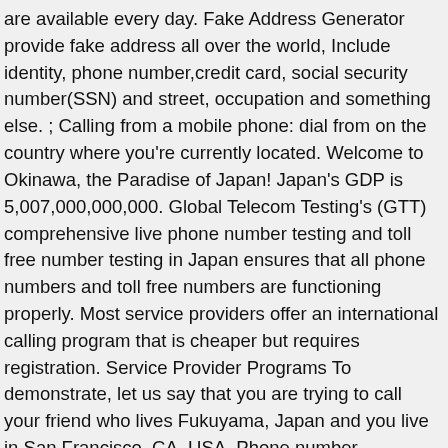are available every day. Fake Address Generator provide fake address all over the world, Include identity, phone number,credit card, social security number(SSN) and street, occupation and something else. ; Calling from a mobile phone: dial from on the country where you're currently located. Welcome to Okinawa, the Paradise of Japan! Japan's GDP is 5,007,000,000,000. Global Telecom Testing's (GTT) comprehensive live phone number testing and toll free number testing in Japan ensures that all phone numbers and toll free numbers are functioning properly. Most service providers offer an international calling program that is cheaper but requires registration. Service Provider Programs To demonstrate, let us say that you are trying to call your friend who lives Fukuyama, Japan and you live in San Francisco, CA, USA. Phone number verification can help you avoid unnecessary costs and wasted effort. Phone number verification can help you avoid unnecessary costs and wasted effort. Now mom calls this new Japan phone number to reach you in US, and doesn't have to pay long distance charges since the call isn't crossing an ocean. In Tokyo, Japan the